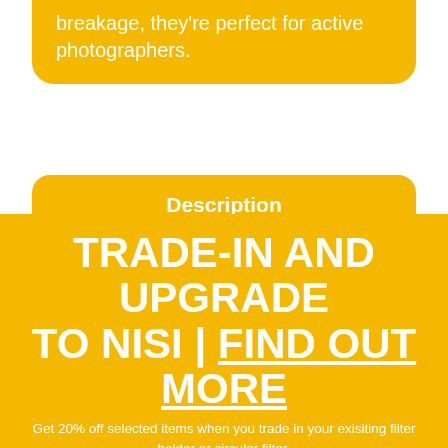breakage, they're perfect for active photographers.
Description
Video
Accessories
Additional information
TRADE-IN AND UPGRADE TO NISI | FIND OUT MORE
Get 20% off selected items when you trade in your exisiting filter holder or circular filter.
Dismiss